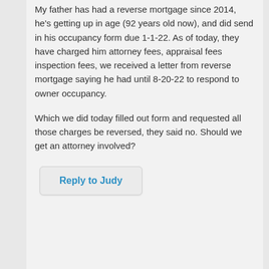My father has had a reverse mortgage since 2014, he's getting up in age (92 years old now), and did send in his occupancy form due 1-1-22. As of today, they have charged him attorney fees, appraisal fees inspection fees, we received a letter from reverse mortgage saying he had until 8-20-22 to respond to owner occupancy.
Which we did today filled out form and requested all those charges be reversed, they said no. Should we get an attorney involved?
Reply to Judy